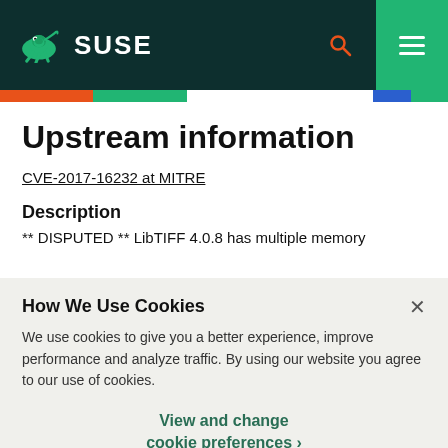SUSE
Upstream information
CVE-2017-16232 at MITRE
Description
** DISPUTED ** LibTIFF 4.0.8 has multiple memory
How We Use Cookies
We use cookies to give you a better experience, improve performance and analyze traffic. By using our website you agree to our use of cookies.
View and change cookie preferences ›